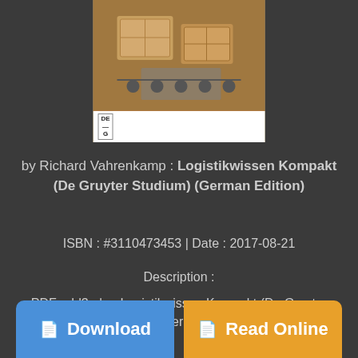[Figure (photo): Book cover of Logistikwissen Kompakt (De Gruyter Studium) (German Edition) showing cardboard boxes on a conveyor belt with De Gruyter publisher logo]
by Richard Vahrenkamp : Logistikwissen Kompakt (De Gruyter Studium) (German Edition)
ISBN : #3110473453 | Date : 2017-08-21
Description :
PDF-cdd3a | ... Logistikwissen Kompakt (De Gruyter Studium) (German Edition)
Download
Read Online